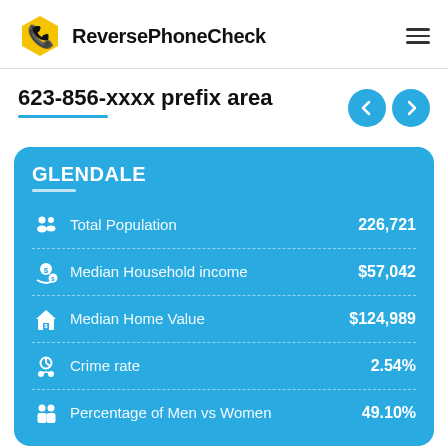ReversePhoneCheck
623-856-xxxx prefix area
|  | Category | Value |
| --- | --- | --- |
|  | Total Population | 226,721 |
|  | Median Household income | $57,042 |
|  | Median Home Value | $124,989 |
|  | Crime rate | 2.54% |
|  | Percentage of Men vs Women | 49.10% |